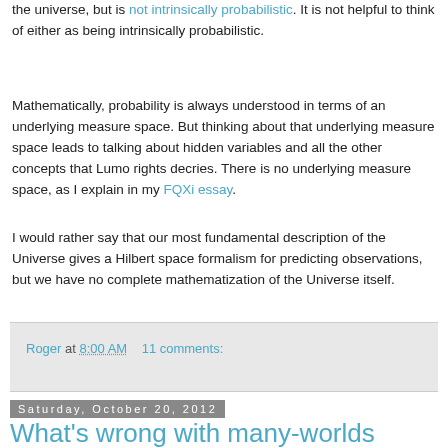the universe, but is not intrinsically probabilistic. It is not helpful to think of either as being intrinsically probabilistic.
Mathematically, probability is always understood in terms of an underlying measure space. But thinking about that underlying measure space leads to talking about hidden variables and all the other concepts that Lumo rights decries. There is no underlying measure space, as I explain in my FQXi essay.
I would rather say that our most fundamental description of the Universe gives a Hilbert space formalism for predicting observations, but we have no complete mathematization of the Universe itself.
Roger at 8:00 AM    11 comments:
Saturday, October 20, 2012
What's wrong with many-worlds